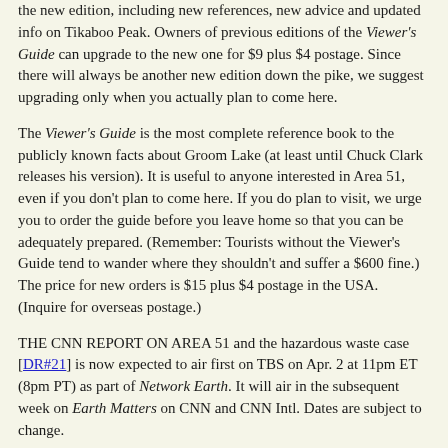the new edition, including new references, new advice and updated info on Tikaboo Peak. Owners of previous editions of the Viewer's Guide can upgrade to the new one for $9 plus $4 postage. Since there will always be another new edition down the pike, we suggest upgrading only when you actually plan to come here.
The Viewer's Guide is the most complete reference book to the publicly known facts about Groom Lake (at least until Chuck Clark releases his version). It is useful to anyone interested in Area 51, even if you don't plan to come here. If you do plan to visit, we urge you to order the guide before you leave home so that you can be adequately prepared. (Remember: Tourists without the Viewer's Guide tend to wander where they shouldn't and suffer a $600 fine.) The price for new orders is $15 plus $4 postage in the USA. (Inquire for overseas postage.)
THE CNN REPORT ON AREA 51 and the hazardous waste case [DR#21] is now expected to air first on TBS on Apr. 2 at 11pm ET (8pm PT) as part of Network Earth. It will air in the subsequent week on Earth Matters on CNN and CNN Intl. Dates are subject to change.
GROOM TOWER FREQUENCIES CHANGED. Several visitors to Freedom Ridge have noted that the Groom Lake tower frequencies reported in DR#15 have been changed. The recent publication of these freqs in the March issue of Popular